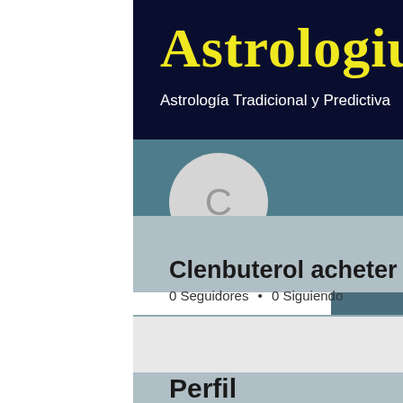Astrologium
Astrología Tradicional y Predictiva
[Figure (screenshot): Hamburger menu icon in white border box]
[Figure (illustration): Circular avatar placeholder with letter C]
Seguir
Clenbuterol acheter testoster...
0 Seguidores • 0 Siguiendo
Perfil